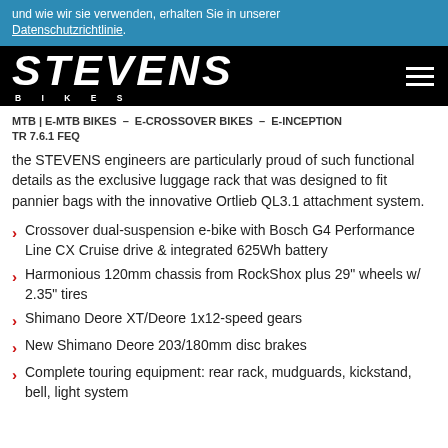und wie wir sie verwenden, erhalten Sie in unserer Datenschutzrichtlinie.
[Figure (logo): Stevens Bikes logo — white italic bold text on black background with 'BIKES' subtitle in spaced caps and hamburger menu icon]
MTB | E-MTB BIKES – E-CROSSOVER BIKES – E-INCEPTION TR 7.6.1 FEQ
the STEVENS engineers are particularly proud of such functional details as the exclusive luggage rack that was designed to fit pannier bags with the innovative Ortlieb QL3.1 attachment system.
Crossover dual-suspension e-bike with Bosch G4 Performance Line CX Cruise drive & integrated 625Wh battery
Harmonious 120mm chassis from RockShox plus 29" wheels w/ 2.35" tires
Shimano Deore XT/Deore 1x12-speed gears
New Shimano Deore 203/180mm disc brakes
Complete touring equipment: rear rack, mudguards, kickstand, bell, light system